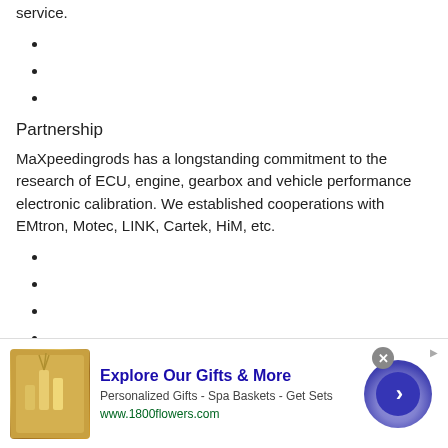service.
Partnership
MaXpeedingrods has a longstanding commitment to the research of ECU, engine, gearbox and vehicle performance electronic calibration. We established cooperations with EMtron, Motec, LINK, Cartek, HiM, etc.
Warehouse
[Figure (infographic): Advertisement banner: Explore Our Gifts & More - Personalized Gifts - Spa Baskets - Get Sets - www.1800flowers.com]